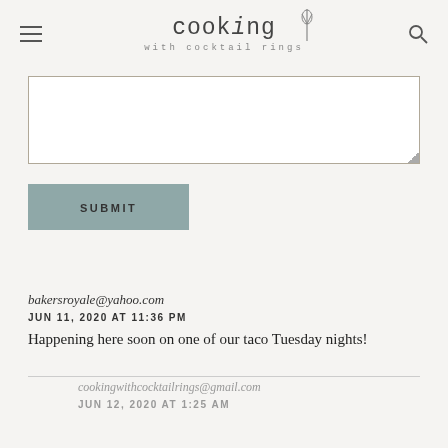cooking with cocktail rings
[Figure (screenshot): Text area input box for comment submission]
SUBMIT
bakersroyale@yahoo.com
JUN 11, 2020 AT 11:36 PM
Happening here soon on one of our taco Tuesday nights!
cookingwithcocktailrings@gmail.com
JUN 12, 2020 AT 1:25 AM